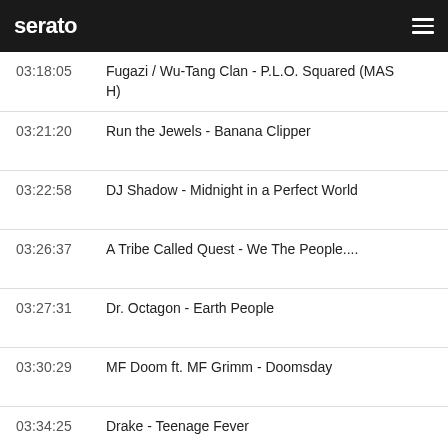serato
03:18:05	Fugazi / Wu-Tang Clan - P.L.O. Squared (MASH)
03:21:20	Run the Jewels - Banana Clipper
03:22:58	DJ Shadow - Midnight in a Perfect World
03:26:37	A Tribe Called Quest - We The People....
03:27:31	Dr. Octagon - Earth People
03:30:29	MF Doom ft. MF Grimm - Doomsday
03:34:25	Drake - Teenage Fever
03:38:15	Minus The Bear - When We Escape
03:43:44	Justice - On'n'on
03:45:00	[partially visible]